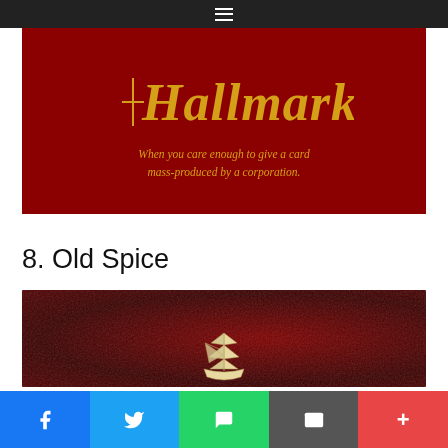[Figure (illustration): Hallmark brand parody card on dark red background with gold script text reading 'Hallmark' and italic tagline 'When you care enough to give a card mass-produced by a corporation.']
8. Old Spice
[Figure (illustration): Old Spice brand image on dark red textured background with a small sailing ship illustration in the center-bottom]
Facebook | Twitter | WhatsApp | Email | More